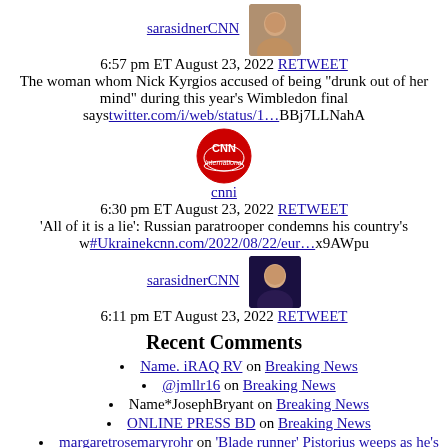sarasidnerCNN 6:57 pm ET August 23, 2022 RETWEET The woman whom Nick Kyrgios accused of being "drunk out of her mind" during this year's Wimbledon final says twitter.com/i/web/status/1…BBj7LLNahA
[Figure (photo): Profile photo of sarasidnerCNN (top)]
cnni 6:30 pm ET August 23, 2022 RETWEET 'All of it is a lie': Russian paratrooper condemns his country's w #Ukraine kcnn.com/2022/08/22/eur…x9AWpu
[Figure (logo): CNN International logo]
[Figure (photo): Profile photo of sarasidnerCNN (bottom)]
sarasidnerCNN 6:11 pm ET August 23, 2022 RETWEET
Recent Comments
Name. iRAQ RV on Breaking News
@jmllr16 on Breaking News
Name*JosephBryant on Breaking News
ONLINE PRESS BD on Breaking News
margaretrosemaryrohr on 'Blade runner' Pistorius weeps as he's charged in girlfriend's death